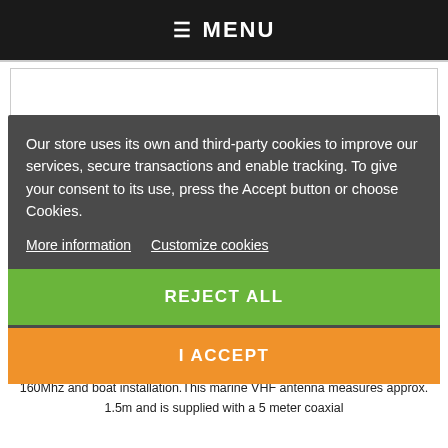☰ MENU
Our store uses its own and third-party cookies to improve our services, secure transactions and enable tracking. To give your consent to its use, press the Accept button or choose Cookies.
More information   Customize cookies
REJECT ALL
I ACCEPT
VHF MARINE AIS ANTENNA SIRIO SB 3M / SB3M WITH 5M RG58 CABLE FOR BOAT
Fiberglass antenna, SB 3M from Sirio, for the VHF Marine band 156-160Mhz and boat installation.This marine VHF antenna measures approx. 1.5m and is supplied with a 5 meter coaxial